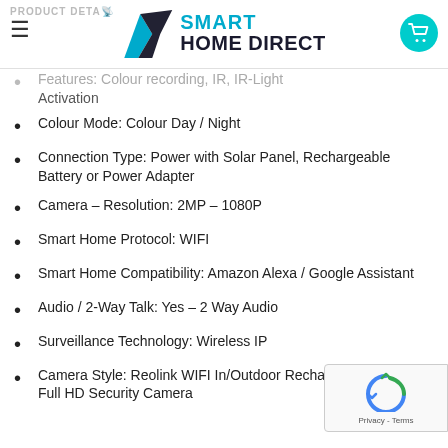PRODUCT DETAILS — Smart Home Direct
Features: Colour Recording, IR, IR-Light Activation
Colour Mode: Colour Day / Night
Connection Type: Power with Solar Panel, Rechargeable Battery or Power Adapter
Camera – Resolution: 2MP – 1080P
Smart Home Protocol: WIFI
Smart Home Compatibility: Amazon Alexa / Google Assistant
Audio / 2-Way Talk: Yes – 2 Way Audio
Surveillance Technology: Wireless IP
Camera Style: Reolink WIFI In/Outdoor Rechargeable Full HD Security Camera